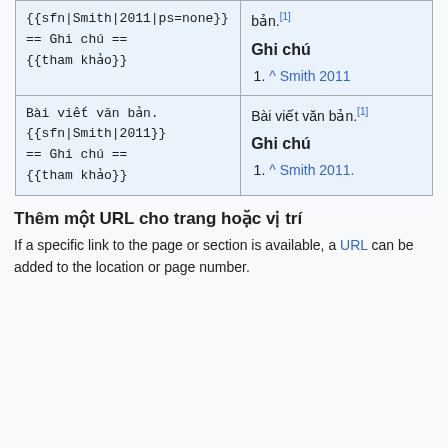| Wikitext | Result |
| --- | --- |
| {{sfn|Smith|2011|ps=none}}
== Ghi chú ==
{{tham khảo}} | bản.[1]

Ghi chú
1. ^ Smith 2011 |
| Bài viết văn bản. {{sfn|Smith|2011}}
== Ghi chú ==
{{tham khảo}} | Bài viết văn bản.[1]

Ghi chú
1. ^ Smith 2011. |
Thêm một URL cho trang hoặc vị trí
If a specific link to the page or section is available, a URL can be added to the location or page number.